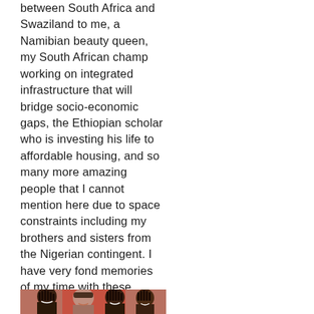between South Africa and Swaziland to me, a Namibian beauty queen, my South African champ working on integrated infrastructure that will bridge socio-economic gaps, the Ethiopian scholar who is investing his life to affordable housing, and so many more amazing people that I cannot mention here due to space constraints including my brothers and sisters from the Nigerian contingent. I have very fond memories of my time with these people and a good number of them have remained good friends till date. My kids will have exotic godparents and 'cousins' from all corners of Africa.
[Figure (photo): A group photo of several women, appearing to be at an event or gathering. Three or more women are visible, smiling at the camera, with what appears to be a red background.]